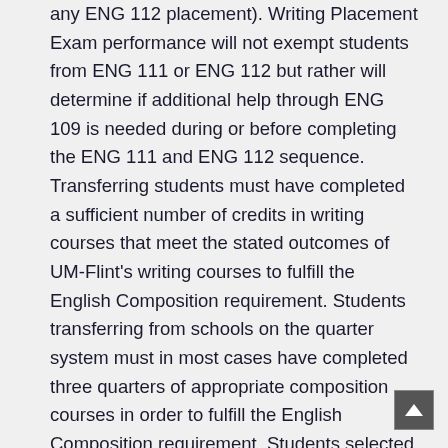any ENG 112 placement). Writing Placement Exam performance will not exempt students from ENG 111 or ENG 112 but rather will determine if additional help through ENG 109 is needed during or before completing the ENG 111 and ENG 112 sequence. Transferring students must have completed a sufficient number of credits in writing courses that meet the stated outcomes of UM-Flint's writing courses to fulfill the English Composition requirement. Students transferring from schools on the quarter system must in most cases have completed three quarters of appropriate composition courses in order to fulfill the English Composition requirement. Students selected for the Honors Program ordinarily satisfy this requirement by completing HON 155 and HON 156. The University strongly recommends that students complete this requirement as early as possible in their first 45 credit hours of coursework.